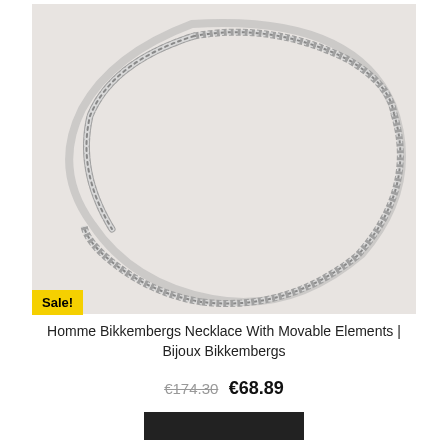[Figure (photo): Silver chain necklace with movable elements on a light grey background]
Sale!
Homme Bikkembergs Necklace With Movable Elements | Bijoux Bikkembergs
€174.30  €68.89